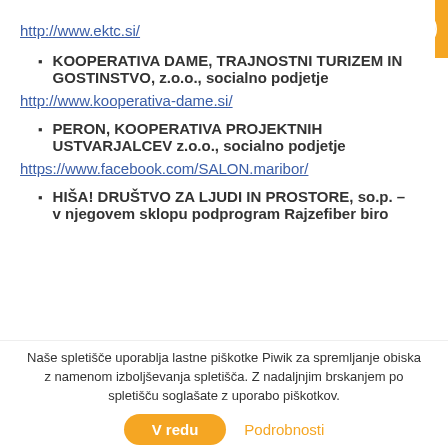http://www.ektc.si/
KOOPERATIVA DAME, TRAJNOSTNI TURIZEM IN GOSTINSTVO, z.o.o., socialno podjetje
http://www.kooperativa-dame.si/
PERON, KOOPERATIVA PROJEKTNIH USTVARJALCEV z.o.o., socialno podjetje
https://www.facebook.com/SALON.maribor/
HIŠA! DRUŠTVO ZA LJUDI IN PROSTORE, so.p.  – v njegovem sklopu podprogram Rajzefiber biro
Naše spletišče uporablja lastne piškotke Piwik za spremljanje obiska z namenom izboljševanja spletišča. Z nadaljnjim brskanjem po spletišču soglašate z uporabo piškotkov.